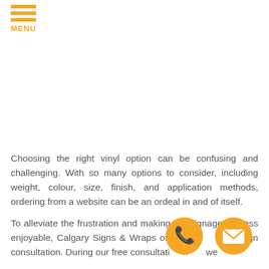MENU
Choosing the right vinyl option can be confusing and challenging. With so many options to consider, including weight, colour, size, finish, and application methods, ordering from a website can be an ordeal in and of itself.
To alleviate the frustration and making the signage process enjoyable, Calgary Signs & Wraps offers a free vinyl sign consultation. During our free consultation with you, we